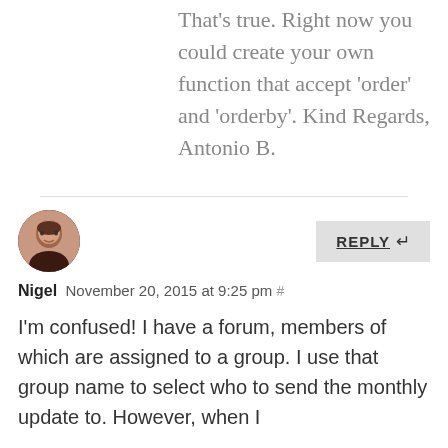That's true. Right now you could create your own function that accept 'order' and 'orderby'. Kind Regards, Antonio B.
[Figure (photo): Avatar photo of Nigel, a man with short gray hair wearing a dark shirt]
Nigel November 20, 2015 at 9:25 pm #
I'm confused! I have a forum, members of which are assigned to a group. I use that group name to select who to send the monthly update to. However, when I